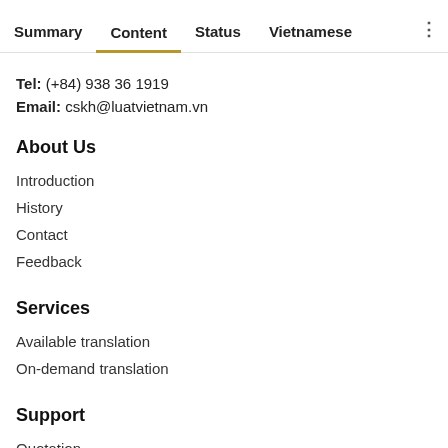Summary | Content | Status | Vietnamese
Tel: (+84) 938 36 1919
Email: cskh@luatvietnam.vn
About Us
Introduction
History
Contact
Feedback
Services
Available translation
On-demand translation
Support
Quotation
User Guide